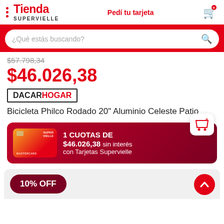Tienda SUPERVIELLE  Pedí tu tarjeta
¿Qué estás buscando?
$57.798,34
$46.026,38
DACARHOGAR
Bicicleta Philco Rodado 20" Aluminio Celeste Patio
1 CUOTAS DE $46.026,38 sin interés con Tarjetas Supervielle
10% OFF